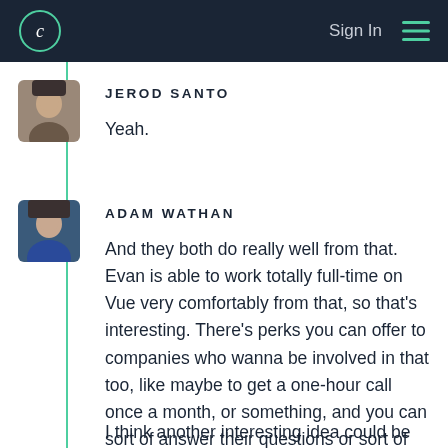Sign In
JEROD SANTO
Yeah.
ADAM WATHAN
And they both do really well from that. Evan is able to work totally full-time on Vue very comfortably from that, so that's interesting. There's perks you can offer to companies who wanna be involved in that too, like maybe to get a one-hour call once a month, or something, and you can sort of answer their questions or sort of give them some advice on things.
I think another interesting idea could be